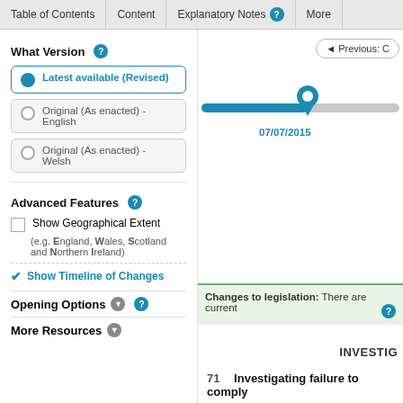Table of Contents | Content | Explanatory Notes | More
What Version
Latest available (Revised)
Original (As enacted) - English
Original (As enacted) - Welsh
Advanced Features
Show Geographical Extent
(e.g. England, Wales, Scotland and Northern Ireland)
Show Timeline of Changes
Opening Options
More Resources
[Figure (infographic): Timeline slider showing date 07/07/2015 with a pin marker on a horizontal track]
07/07/2015
Changes to legislation: There are current
INVESTIG
71   Investigating failure to comply